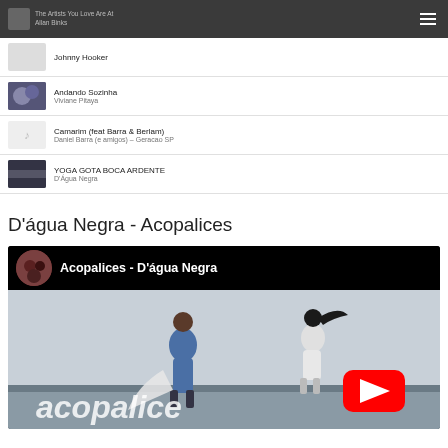Header navigation bar
Johnny Hooker
Andando Sozinha
Viviane Pitaya
Camarim (feat Barra & Berlam)
Daniel Barra (e amigos) – Geracao SP
YOGA GOTA BOCA ARDENTE
D'Água Negra
D'água Negra - Acopalices
[Figure (screenshot): YouTube video embed showing 'Acopalices - D'água Negra' with two figures on a rooftop and the YouTube play button overlay]